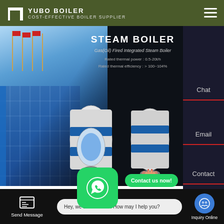YUBO BOILER — COST-EFFECTIVE BOILER SUPPLIER
[Figure (screenshot): Dark hero banner showing steam boiler product page. Left side shows building with flags (blue glass facade). Right side shows 'STEAM BOILER' heading with Gas(Oil) Fired Integrated Steam Boiler specs: Rated thermal power 0.5-20t/h, Rated thermal efficiency >100%. Two industrial steam boiler units rendered in 3D (white/blue/grey) with red flame burners. Right sidebar shows Chat and Email contact options.]
STEAM BOILER
Gas(Oil) Fired Integrated Steam Boiler
Rated thermal power : 0.5-20t/h
Rated thermal efficiency : > 100~104%
Chat
Email
Contact
Best Price Gas Fired Per Inc
Contact us now!
Contact us now!
Hey, we are live 24/7. How may I help you?
Send Message
Inquiry Online